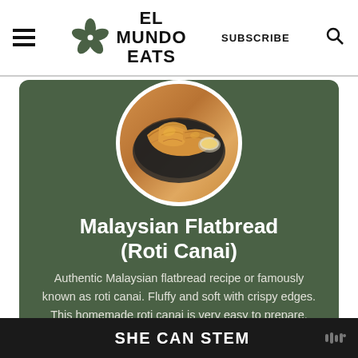EL MUNDO EATS | SUBSCRIBE
[Figure (photo): Circular photo of Malaysian flatbread (Roti Canai) stacked on a dark plate, golden brown and flaky, with a dipping sauce visible in background]
Malaysian Flatbread (Roti Canai)
Authentic Malaysian flatbread recipe or famously known as roti canai. Fluffy and soft with crispy edges. This homemade roti canai is very easy to prepare.
[Figure (other): Five gold/yellow star rating icons]
SHE CAN STEM